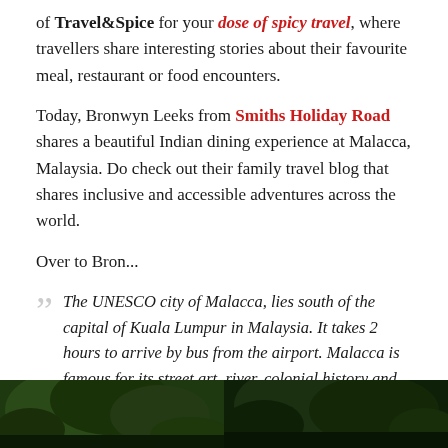of Travel&Spice for your dose of spicy travel, where travellers share interesting stories about their favourite meal, restaurant or food encounters.
Today, Bronwyn Leeks from Smiths Holiday Road shares a beautiful Indian dining experience at Malacca, Malaysia. Do check out their family travel blog that shares inclusive and accessible adventures across the world.
Over to Bron...
The UNESCO city of Malacca, lies south of the capital of Kuala Lumpur in Malaysia. It takes 2 hours to arrive by bus from the airport. Malacca is famous for its street art, river, colonial history and of course it's amazing food.
[Figure (photo): Two photos at the bottom of the page showing green trees/foliage]